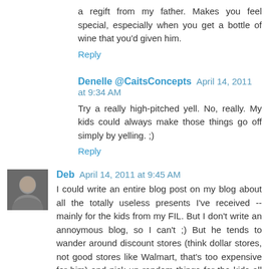a regift from my father. Makes you feel special, especially when you get a bottle of wine that you'd given him.
Reply
Denelle @CaitsConcepts  April 14, 2011 at 9:34 AM
Try a really high-pitched yell. No, really. My kids could always make those things go off simply by yelling. ;)
Reply
Deb  April 14, 2011 at 9:45 AM
I could write an entire blog post on my blog about all the totally useless presents I've received -- mainly for the kids from my FIL. But I don't write an annoymous blog, so I can't ;) But he tends to wander around discount stores (think dollar stores, not good stores like Walmart, that's too expensive for him) and pick up random things for the kids all the time. Clothes that are 4 sizes too big, toys that are for 18+ (given to my 5 year old), random 'decorative' items for me or my husband. I swear, over half the stuff ends up